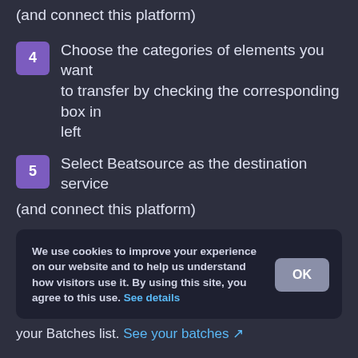(and connect this platform)
4  Choose the categories of elements you want to transfer by checking the corresponding box in left
5  Select Beatsource as the destination service (and connect this platform)
We use cookies to improve your experience on our website and to help us understand how visitors use it. By using this site, you agree to this use. See details
your Batches list. See your batches